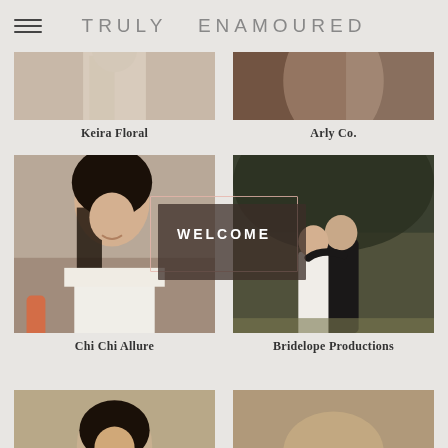TRULY ENAMOURED
[Figure (photo): Cropped wedding photo top portion — Keira Floral]
Keira Floral
[Figure (photo): Cropped wedding photo top portion — Arly Co.]
Arly Co.
[Figure (photo): Portrait of Asian woman in wedding dress — Chi Chi Allure]
[Figure (photo): Outdoor couple embracing in wedding attire — Bridelope Productions]
Chi Chi Allure
Bridelope Productions
[Figure (photo): Partial bottom row photo left]
[Figure (photo): Partial bottom row photo right]